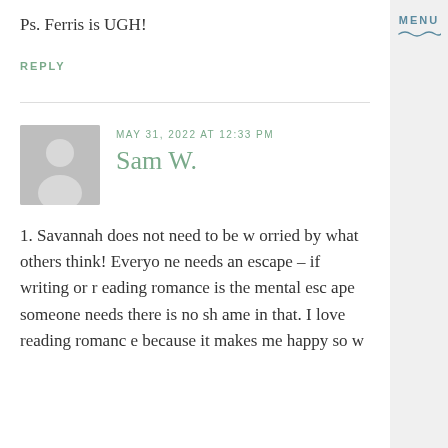Ps. Ferris is UGH!
REPLY
MAY 31, 2022 AT 12:33 PM
Sam W.
[Figure (illustration): Generic user avatar placeholder — grey square with white silhouette of a person]
1. Savannah does not need to be worried by what others think! Everyone needs an escape – if writing or reading romance is the mental escape someone needs there is no shame in that. I love reading romance because it makes me happy so w